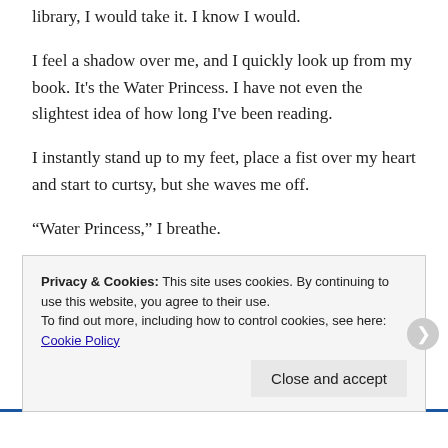library, I would take it. I know I would.
I feel a shadow over me, and I quickly look up from my book. It's the Water Princess. I have not even the slightest idea of how long I've been reading.
I instantly stand up to my feet, place a fist over my heart and start to curtsy, but she waves me off.
“Water Princess,” I breathe.
“I’m Clara to you, remember?”
Privacy & Cookies: This site uses cookies. By continuing to use this website, you agree to their use.
To find out more, including how to control cookies, see here: Cookie Policy
Close and accept